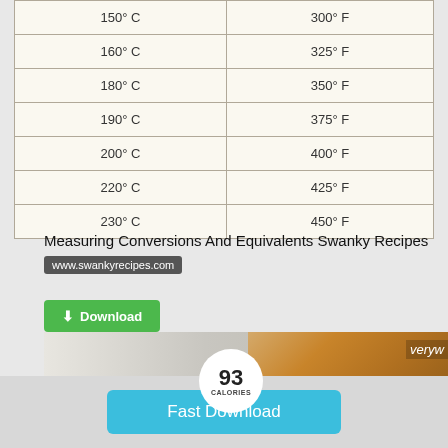| °C | °F |
| --- | --- |
| 150° C | 300° F |
| 160° C | 325° F |
| 180° C | 350° F |
| 190° C | 375° F |
| 200° C | 400° F |
| 220° C | 425° F |
| 230° C | 450° F |
Measuring Conversions And Equivalents Swanky Recipes
www.swankyrecipes.com
[Figure (screenshot): Green download button with arrow icon and text 'Download']
[Figure (photo): Popcorn image showing 93 calories with bowl of popcorn and 'Popcorn' text, verywell logo partial]
[Figure (screenshot): Cyan/blue 'Fast Download' button on grey background]